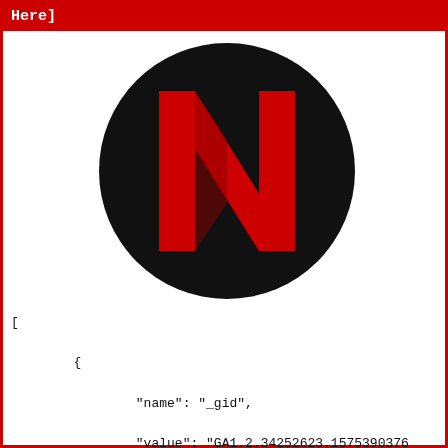Here]
[Figure (logo): Netflix logo: red N on black circle background]
[

        {

                "name": "_gid",

                "value": "GA1.2.34252623.1575390376

                "domain": ".netflix.com",

                "hostOnly": false